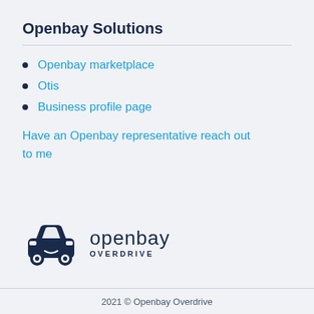Openbay Solutions
Openbay marketplace
Otis
Business profile page
Have an Openbay representative reach out to me
[Figure (logo): Openbay Overdrive logo with a car icon and text 'openbay OVERDRIVE']
2021 © Openbay Overdrive